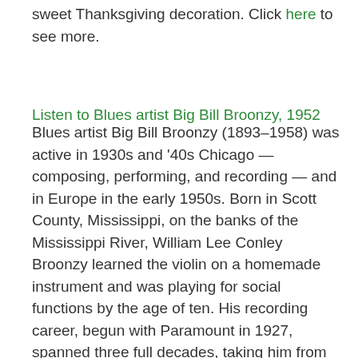sweet Thanksgiving decoration. Click here to see more.
Listen to Blues artist Big Bill Broonzy, 1952
Blues artist Big Bill Broonzy (1893–1958) was active in 1930s and '40s Chicago — composing, performing, and recording — and in Europe in the early 1950s. Born in Scott County, Mississippi, on the banks of the Mississippi River, William Lee Conley Broonzy learned the violin on a homemade instrument and was playing for social functions by the age of ten. His recording career, begun with Paramount in 1927, spanned three full decades, taking him from the heart of the Chicago blues scene to the folk revival of the 1950s. Click here to see more.